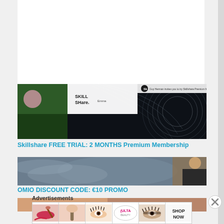[Figure (screenshot): Skillshare promotional banner with star trail night sky background and Skillshare logo]
Skillshare FREE TRIAL: 2 MONTHS Premium Membership
[Figure (screenshot): OMIO discount code promotional banner showing a person outdoors]
OMIO DISCOUNT CODE: €10 PROMO
[Figure (screenshot): Partial view of a third promotional image]
Advertisements
[Figure (screenshot): Advertisement strip showing beauty product ads with ULTA logo and 'SHOP NOW' button]